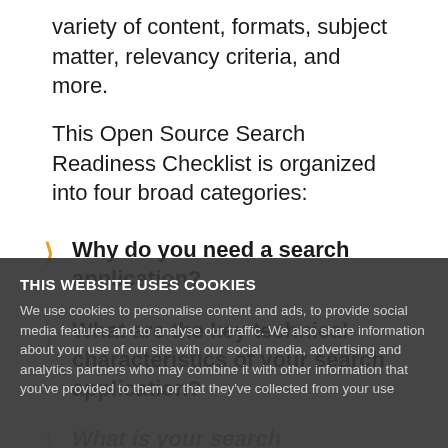variety of content, formats, subject matter, relevancy criteria, and more.
This Open Source Search Readiness Checklist is organized into four broad categories:
Why do you need a search application?
What are the key technical characteristics of your search application?
What is your search application's content management?
Solr/Lucene and your ongoing business needs?
THIS WEBSITE USES COOKIES
We use cookies to personalise content and ads, to provide social media features and to analyse our traffic. We also share information about your use of our site with our social media, advertising and analytics partners who may combine it with other information that you've provided to them or that they've collected from your use